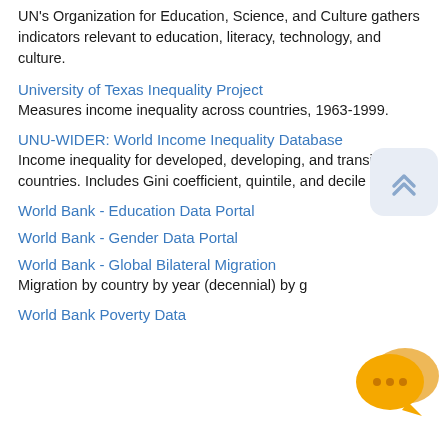UN's Organization for Education, Science, and Culture gathers indicators relevant to education, literacy, technology, and culture.
University of Texas Inequality Project
Measures income inequality across countries, 1963-1999.
UNU-WIDER: World Income Inequality Database
Income inequality for developed, developing, and transition countries. Includes Gini coefficient, quintile, and decile shares.
World Bank - Education Data Portal
World Bank - Gender Data Portal
World Bank - Global Bilateral Migration
Migration by country by year (decennial) by g…
World Bank Poverty Data